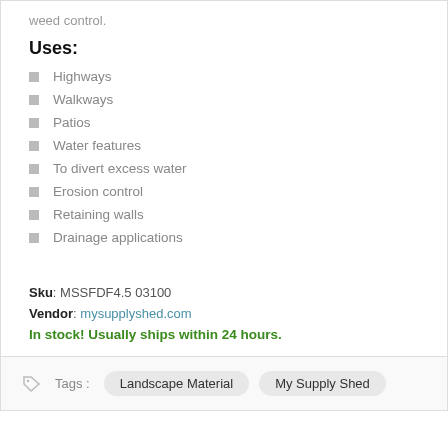weed control.
Uses:
Highways
Walkways
Patios
Water features
To divert excess water
Erosion control
Retaining walls
Drainage applications
Sku: MSSFDF4.5 03100
Vendor: mysupplyshed.com
In stock! Usually ships within 24 hours.
Tags : Landscape Material My Supply Shed